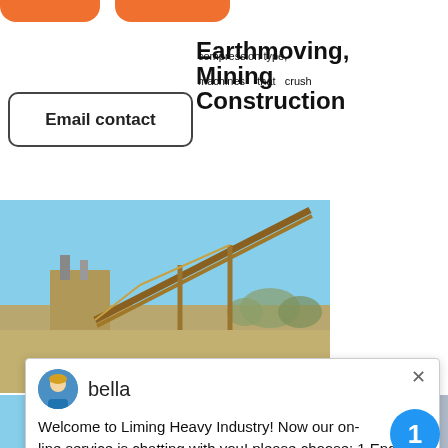[Figure (screenshot): Orange decorative bar/tabs at the top of the page]
Email contact
Earthmoving, Mining, Construction
compression type, machines that crush
[Figure (photo): Outdoor photo of industrial conveyor/crane equipment against blue sky]
[Figure (photo): Chat popup with avatar of bella, Liming Heavy Industry welcome message]
bella
Welcome to Liming Heavy Industry! Now our on-line service is chatting with you! please choose: 1.English
[Figure (photo): Outdoor photo of white mobile crushing/screening equipment with rock pile]
[Figure (photo): Right panel showing cone crusher machine image with blue notification badge showing 1]
Click me to chat>>
Enquiry
mumumugoods